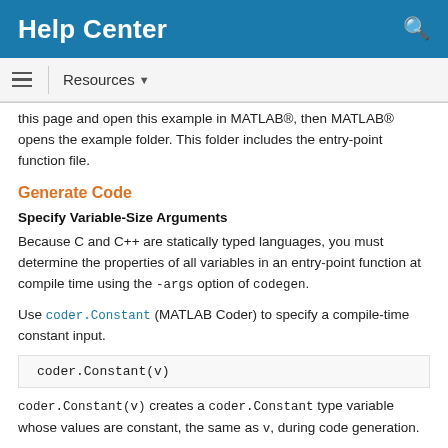Help Center
Resources ▼
this page and open this example in MATLAB®, then MATLAB® opens the example folder. This folder includes the entry-point function file.
Generate Code
Specify Variable-Size Arguments
Because C and C++ are statically typed languages, you must determine the properties of all variables in an entry-point function at compile time using the -args option of codegen.
Use coder.Constant (MATLAB Coder) to specify a compile-time constant input.
coder.Constant(v)
coder.Constant(v) creates a coder.Constant type variable whose values are constant, the same as v, during code generation.